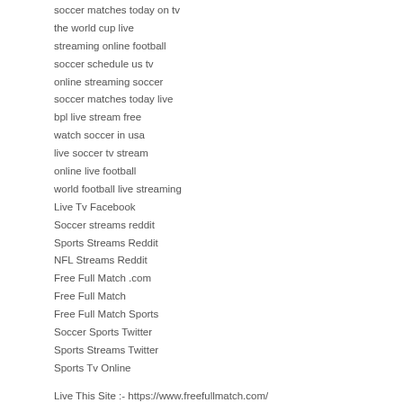soccer matches today on tv
the world cup live
streaming online football
soccer schedule us tv
online streaming soccer
soccer matches today live
bpl live stream free
watch soccer in usa
live soccer tv stream
online live football
world football live streaming
Live Tv Facebook
Soccer streams reddit
Sports Streams Reddit
NFL Streams Reddit
Free Full Match .com
Free Full Match
Free Full Match Sports
Soccer Sports Twitter
Sports Streams Twitter
Sports Tv Online
Live This Site :- https://www.freefullmatch.com/